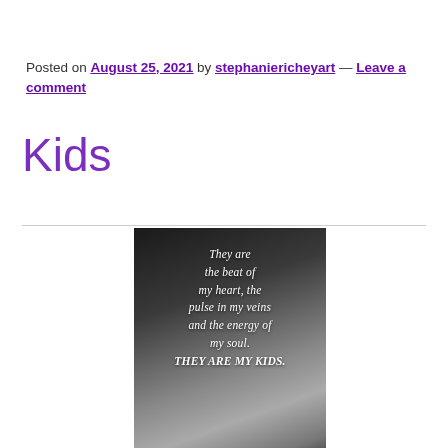Posted on August 25, 2021 by stephaniericheyart — Leave a comment
Kids
[Figure (photo): Black and white photo with italic white text reading: They are the beat of my heart, the pulse in my veins and the energy of my soul. THEY ARE MY KIDS. Heart shapes drawn in sand visible at bottom.]